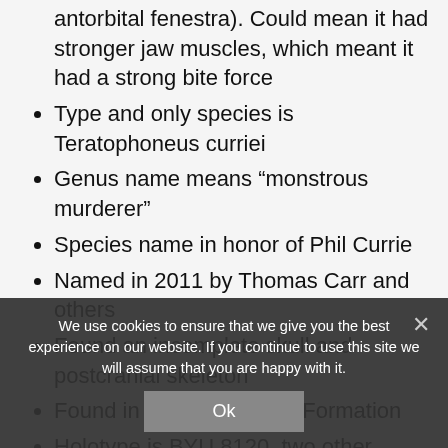antorbital fenestra). Could mean it had stronger jaw muscles, which meant it had a strong bite force
Type and only species is Teratophoneus curriei
Genus name means “monstrous murderer”
Species name in honor of Phil Currie
Named in 2011 by Thomas Carr and others
Found an incomplete skull and postcranial skeleton
Found in the Kaiparowits Formation
Holotype is BYU 8120, two other specimens have been referred to Teratophoneus: UMNH VP 16352 and MNA V10984
Holotype fossils originally thought to be from four different individuals, then later found to be probably from one individual, a subadult
Specimen excavated in 2017 in Grand...
We use cookies to ensure that we give you the best experience on our website. If you continue to use this site we will assume that you are happy with it.